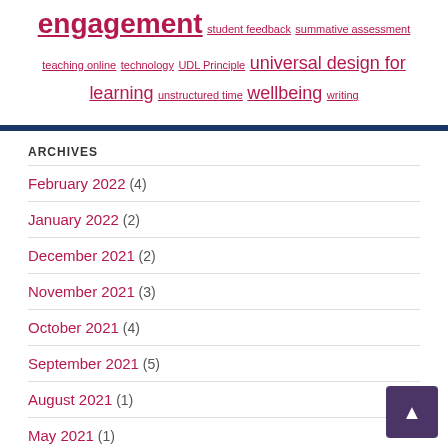engagement student feedback summative assessment teaching online technology UDL Principle universal design for learning unstructured time wellbeing writing
ARCHIVES
February 2022 (4)
January 2022 (2)
December 2021 (2)
November 2021 (3)
October 2021 (4)
September 2021 (5)
August 2021 (1)
May 2021 (1)